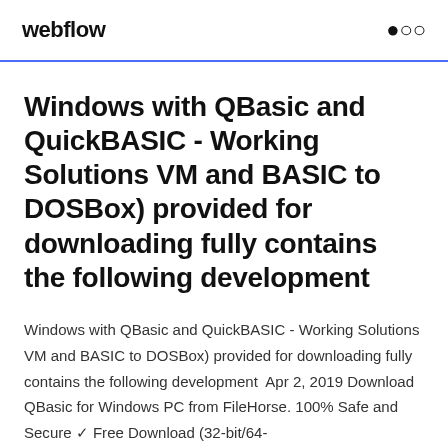webflow
Windows with QBasic and QuickBASIC - Working Solutions VM and BASIC to DOSBox) provided for downloading fully contains the following development
Windows with QBasic and QuickBASIC - Working Solutions VM and BASIC to DOSBox) provided for downloading fully contains the following development  Apr 2, 2019 Download QBasic for Windows PC from FileHorse. 100% Safe and Secure ✓ Free Download (32-bit/64-